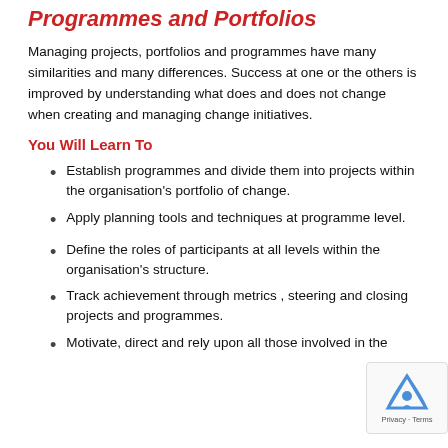Programmes and Portfolios
Managing projects, portfolios and programmes have many similarities and many differences. Success at one or the others is improved by understanding what does and does not change when creating and managing change initiatives.
You Will Learn To
Establish programmes and divide them into projects within the organisation's portfolio of change.
Apply planning tools and techniques at programme level.
Define the roles of participants at all levels within the organisation's structure.
Track achievement through metrics , steering and closing projects and programmes.
Motivate, direct and rely upon all those involved in the